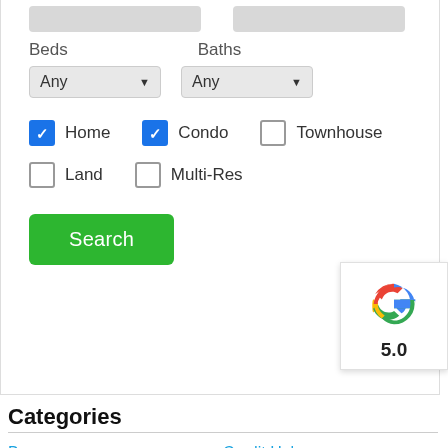[Figure (screenshot): Real estate search form with Beds and Baths dropdowns (both set to Any), checkboxes for Home (checked), Condo (checked), Townhouse (unchecked), Land (unchecked), Multi-Res (unchecked), and a green Search button]
[Figure (logo): Google logo badge showing colorful G icon and score 5.0]
Categories
Buyers
Credit Help
Dave Ramsey Tips
Helping Sellers
home
Market Updates
Va Loan